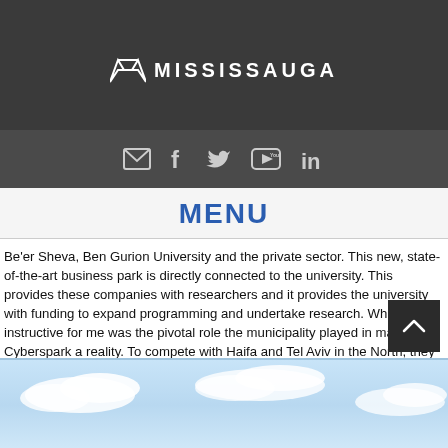MISSISSAUGA
[Figure (screenshot): Social media icons row: email, facebook, twitter, youtube, linkedin on dark background]
MENU
Be'er Sheva, Ben Gurion University and the private sector. This new, state-of-the-art business park is directly connected to the university. This provides these companies with researchers and it provides the university with funding to expand programming and undertake research. What was instructive for me was the pivotal role the municipality played in making Cyberspark a reality. To compete with Haifa and Tel Aviv in the North, they became actively involved in the project through land and incentives to make the park happen. In return, the university is expanding, new jobs are being created, and Be'er Sheva is becoming known as a hub of innovation, and in particular, a destination for cybersecurity.
[Figure (photo): Sky with clouds, blue sky photograph at bottom of page]